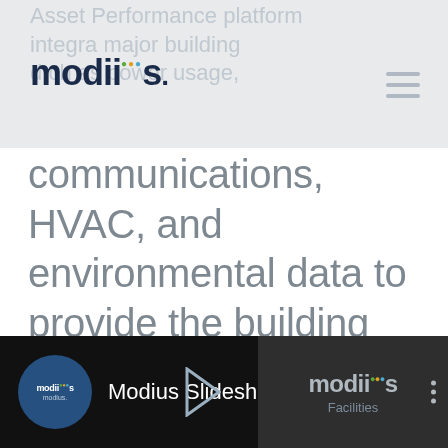[Figure (logo): Modius logo with colored dots above 'ii' in word 'modius' — dark navy text, green, orange, blue dots]
Asset Performance platform integrates major building data such as power usage, communications, HVAC, and environmental data to provide the building operations team with a 24×7 view into asset performance in a unified single pane of glass.
[Figure (screenshot): Video thumbnail bar: Modius Slideshow video player with modius logo icon on dark background, video title 'Modius Slideshow', right panel shows modius logo and 'Facilities' text]